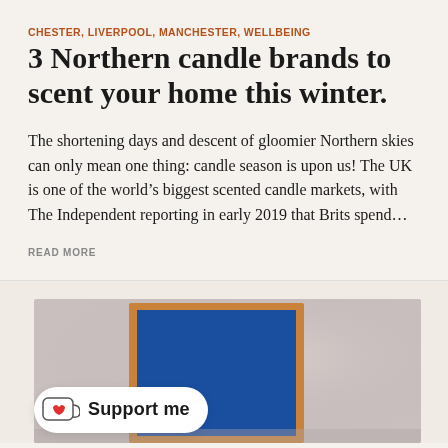CHESTER, LIVERPOOL, MANCHESTER, WELLBEING
3 Northern candle brands to scent your home this winter.
The shortening days and descent of gloomier Northern skies can only mean one thing: candle season is upon us! The UK is one of the world's biggest scented candle markets, with The Independent reporting in early 2019 that Brits spend…
READ MORE
[Figure (photo): Photograph showing a framed blue artwork or canvas leaning against a wall, with a 'Support me' badge overlay in the lower left corner featuring a coffee cup with a heart icon.]